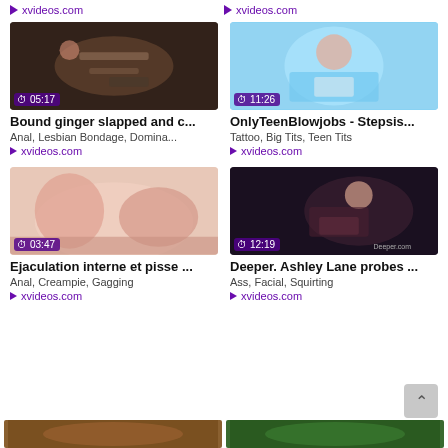▷ xvideos.com
▷ xvideos.com
[Figure (photo): Video thumbnail: BDSM scene with two women, duration 05:17]
[Figure (photo): Video thumbnail: Woman in blue fur coat taking selfie, duration 11:26]
Bound ginger slapped and c...
OnlyTeenBlowjobs - Stepsis...
Anal, Lesbian Bondage, Domina...
Tattoo, Big Tits, Teen Tits
▷ xvideos.com
▷ xvideos.com
[Figure (photo): Video thumbnail: Close-up explicit content, duration 03:47]
[Figure (photo): Video thumbnail: Man holding woman in bondage, duration 12:19]
Ejaculation interne et pisse ...
Deeper. Ashley Lane probes ...
Anal, Creampie, Gagging
Ass, Facial, Squirting
▷ xvideos.com
▷ xvideos.com